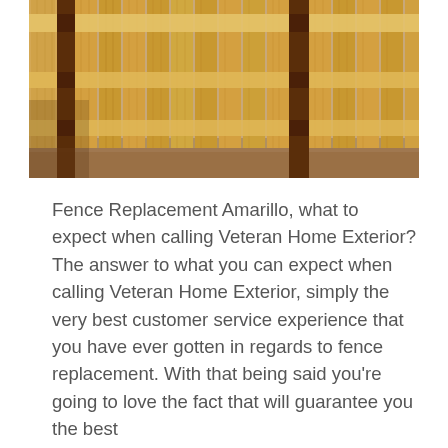[Figure (photo): Close-up photograph of a wooden fence with vertical planks, horizontal rails, and dark brown support posts. The fence is made of light tan/pine-colored wood boards. Sandy ground visible at the base.]
Fence Replacement Amarillo, what to expect when calling Veteran Home Exterior? The answer to what you can expect when calling Veteran Home Exterior, simply the very best customer service experience that you have ever gotten in regards to fence replacement. With that being said you're going to love the fact that will guarantee you the best